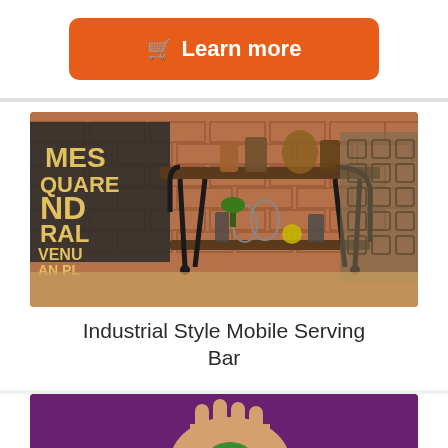[Figure (other): Orange rounded button with shopping cart icon and text 'Learn more']
[Figure (photo): Industrial style mobile serving bar with black metal frame and two wooden shelves, set against a brick wall background with bar accessories]
Industrial Style Mobile Serving Bar
[Figure (photo): Partial view of a hand against a purple/green background, bottom of page]